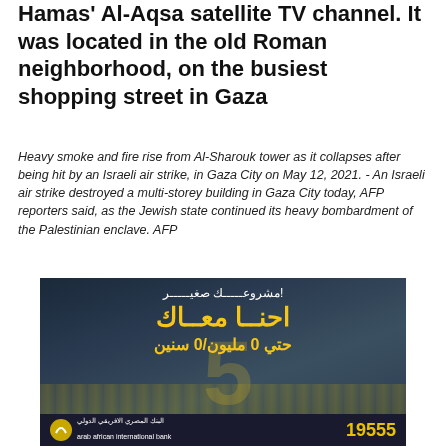Hamas' Al-Aqsa satellite TV channel. It was located in the old Roman neighborhood, on the busiest shopping street in Gaza
Heavy smoke and fire rise from Al-Sharouk tower as it collapses after being hit by an Israeli air strike, in Gaza City on May 12, 2021. - An Israeli air strike destroyed a multi-storey building in Gaza City today, AFP reporters said, as the Jewish state continued its heavy bombardment of the Palestinian enclave. AFP
[Figure (photo): Advertisement for Arab African International Bank showing an industrial factory setting with Arabic text reading 'مشروعك صغير! احنا معاك حتي 0 مليون/0 سنين' (Your small project! We are with you up to 5 million/5 years) with a large number 5 and workers in the background. Bank logo and number 19555 at the bottom.]